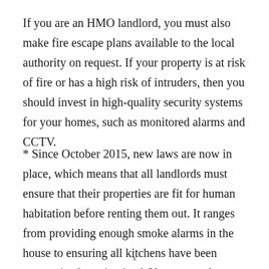If you are an HMO landlord, you must also make fire escape plans available to the local authority on request. If your property is at risk of fire or has a high risk of intruders, then you should invest in high-quality security systems for your homes, such as monitored alarms and CCTV.
* Since October 2015, new laws are now in place, which means that all landlords must ensure that their properties are fit for human habitation before renting them out. It ranges from providing enough smoke alarms in the house to ensuring all kitchens have been appropriately maintained. You can read more about this new act here.